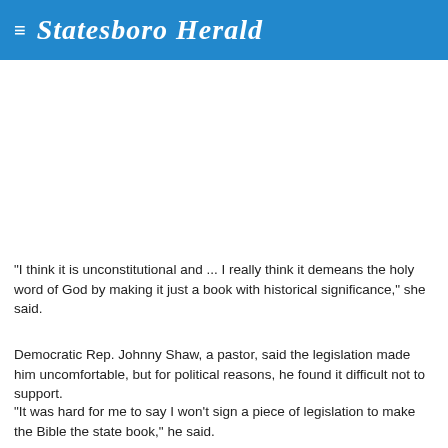Statesboro Herald
"I think it is unconstitutional and ... I really think it demeans the holy word of God by making it just a book with historical significance," she said.
Democratic Rep. Johnny Shaw, a pastor, said the legislation made him uncomfortable, but for political reasons, he found it difficult not to support.
"It was hard for me to say I won't sign a piece of legislation to make the Bible the state book," he said.